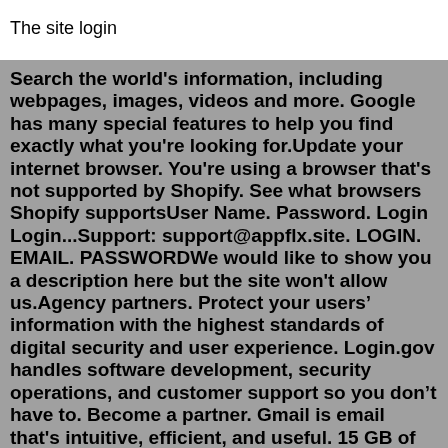The site login
Search the world's information, including webpages, images, videos and more. Google has many special features to help you find exactly what you're looking for.Update your internet browser. You're using a browser that's not supported by Shopify. See what browsers Shopify supportsUser Name. Password. Login Login...Support: support@appflx.site. LOGIN. EMAIL. PASSWORDWe would like to show you a description here but the site won't allow us.Agency partners. Protect your users’ information with the highest standards of digital security and user experience. Login.gov handles software development, security operations, and customer support so you don’t have to. Become a partner. Gmail is email that's intuitive, efficient, and useful. 15 GB of storage, less spam, and mobile access.To login to your webmail account, please go to https://wm.mailanyone.net.The